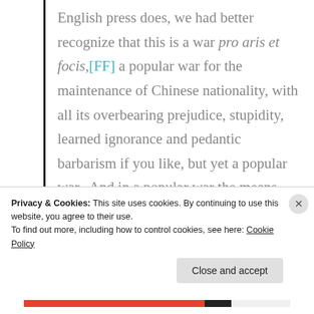English press does, we had better recognize that this is a war pro aris et focis,[FF] a popular war for the maintenance of Chinese nationality, with all its overbearing prejudice, stupidity, learned ignorance and pedantic barbarism if you like, but yet a popular war. And in a popular war the means used by the insurgent nation cannot be measured by the commonly recognized rules of regular warfare, nor by any other abstract
Privacy & Cookies: This site uses cookies. By continuing to use this website, you agree to their use. To find out more, including how to control cookies, see here: Cookie Policy
Close and accept